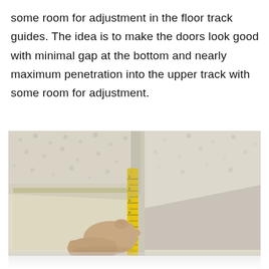some room for adjustment in the floor track guides. The idea is to make the doors look good with minimal gap at the bottom and nearly maximum penetration into the upper track with some room for adjustment.
[Figure (photo): A person's hand holding a yellow tape measure against the top corner of a sliding door panel being installed, measuring the door's penetration into the upper track. The ceiling is textured (popcorn) and the wall/door panel is off-white/beige.]